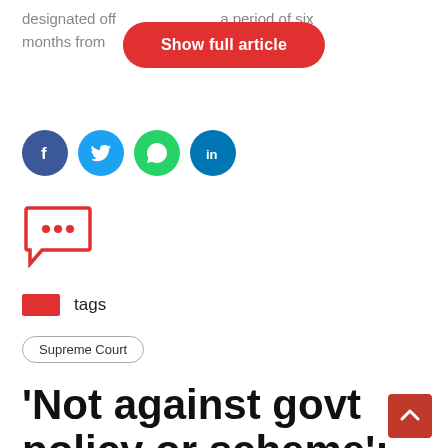designated off… period of six months from… t. "A retired
[Figure (other): Red pill-shaped button with white text 'Show full article']
[Figure (other): Social media share icons: Facebook (blue circle with f), Twitter (light blue circle with bird), WhatsApp (green circle with phone), LinkedIn (blue circle with in)]
[Figure (other): Red speech bubble comment icon with three dots]
tags
Supreme Court
'Not against govt policy or scheme': SC on plea against freebie